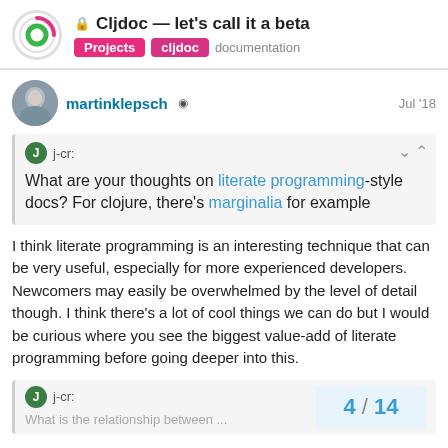Cljdoc — let's call it a beta | Projects | cljdoc | documentation
martinklepsch · Jul '18
j-cr: What are your thoughts on literate programming-style docs? For clojure, there's marginalia for example
I think literate programming is an interesting technique that can be very useful, especially for more experienced developers. Newcomers may easily be overwhelmed by the level of detail though. I think there's a lot of cool things we can do but I would be curious where you see the biggest value-add of literate programming before going deeper into this.
j-cr: What is the relationship between...
4 / 14